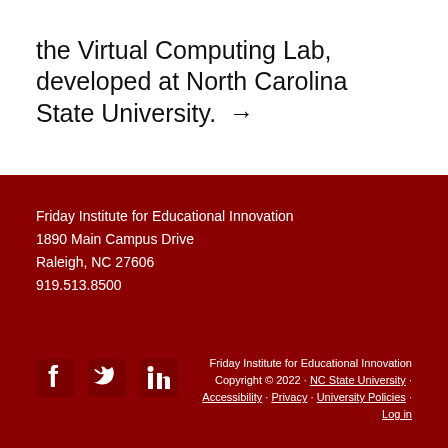the Virtual Computing Lab, developed at North Carolina State University. →
Friday Institute for Educational Innovation
1890 Main Campus Drive
Raleigh, NC 27606
919.513.8500
[Figure (other): Social media icons: Facebook, Twitter, LinkedIn]
Friday Institute for Educational Innovation Copyright © 2022 · NC State University · Accessibility · Privacy · University Policies · Log in